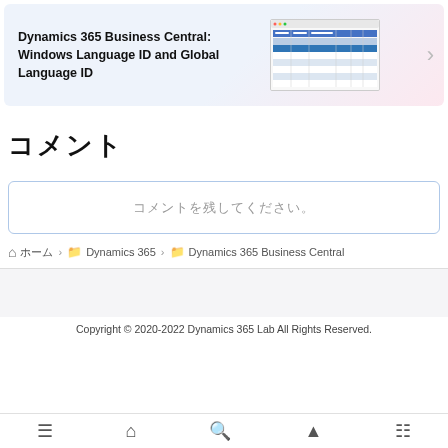[Figure (screenshot): Dynamics 365 Business Central: Windows Language ID and Global Language ID — article card with a screenshot of a spreadsheet/table and a right arrow navigation button]
コメント
[Figure (other): Search / comment input box with placeholder text (Japanese characters)]
🏠 ホーム › Dynamics 365 › Dynamics 365 Business Central
Copyright © 2020-2022 Dynamics 365 Lab All Rights Reserved.